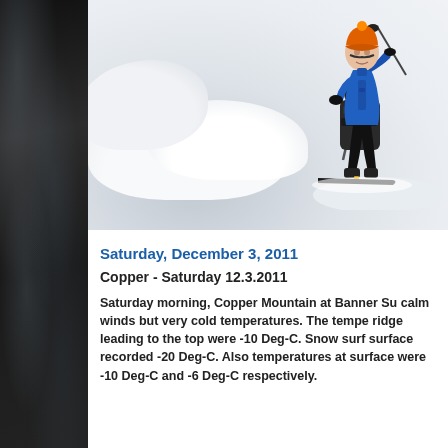[Figure (photo): A mountaineer in a blue jacket and orange hat standing on snow with ski poles and a backpack, surrounded by snowy terrain and ice formations.]
Saturday, December 3, 2011
Copper - Saturday 12.3.2011
Saturday morning, Copper Mountain at Banner Su... calm winds but very cold temperatures. The tempe... ridge leading to the top were -10 Deg-C. Snow surf... surface recorded -20 Deg-C. Also temperatures at ... surface were -10 Deg-C and -6 Deg-C respectively.